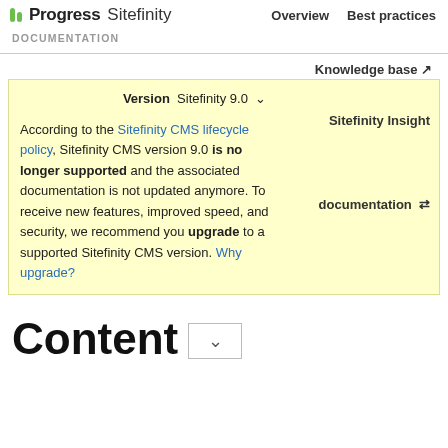Progress Sitefinity | DOCUMENTATION | Overview | Best practices
Knowledge base
Version Sitefinity 9.0 ▾
According to the Sitefinity CMS lifecycle policy, Sitefinity CMS version 9.0 is no longer supported and the associated documentation is not updated anymore. To receive new features, improved speed, and security, we recommend you upgrade to a supported Sitefinity CMS version. Why upgrade?
Sitefinity Insight
documentation ⇄
Content